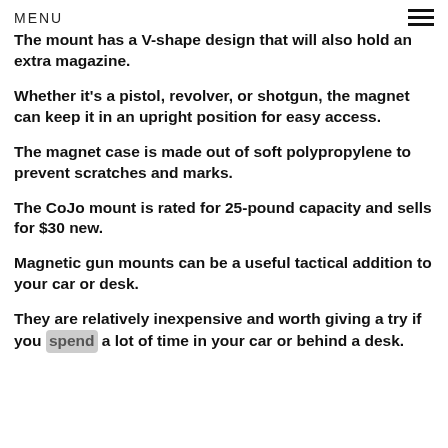MENU
The mount has a V-shape design that will also hold an extra magazine.
Whether it’s a pistol, revolver, or shotgun, the magnet can keep it in an upright position for easy access.
The magnet case is made out of soft polypropylene to prevent scratches and marks.
The CoJo mount is rated for 25-pound capacity and sells for $30 new.
Magnetic gun mounts can be a useful tactical addition to your car or desk.
They are relatively inexpensive and worth giving a try if you spend a lot of time in your car or behind a desk.